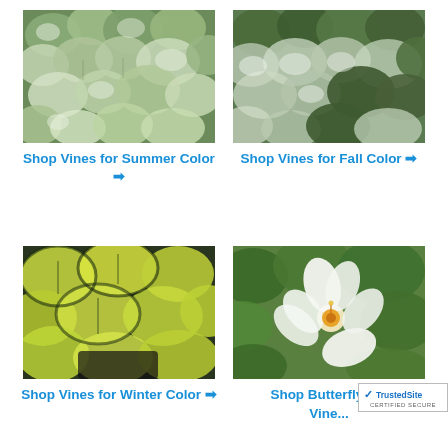[Figure (photo): Close-up photo of green and white variegated ivy leaves densely packed together]
Shop Vines for Summer Color →
[Figure (photo): Close-up photo of green and white variegated ivy leaves, darker coloring]
Shop Vines for Fall Color →
[Figure (photo): Close-up photo of yellow-green variegated tropical vine leaves]
Shop Vines for Winter Color →
[Figure (photo): Close-up photo of white butterfly-like flower with orange center on green vine]
Shop Butterfly A... Vine...
[Figure (logo): TrustedSite Certified Secure badge]